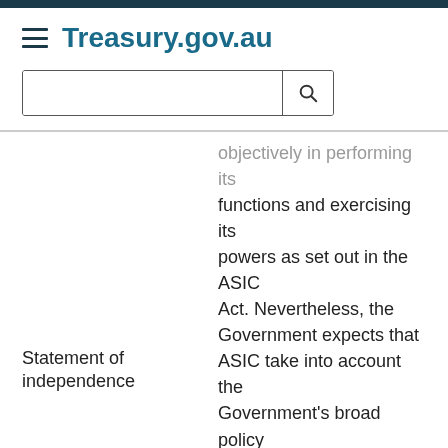Treasury.gov.au
objectively in performing its functions and exercising its powers as set out in the ASIC Act. Nevertheless, the Government expects that ASIC take into account the Government's broad policy framework in performing its role and meeting its responsibilities. Additionally, ASIC should also consider the outcomes or recommendations of relevant Government established panels, reviews
Statement of independence